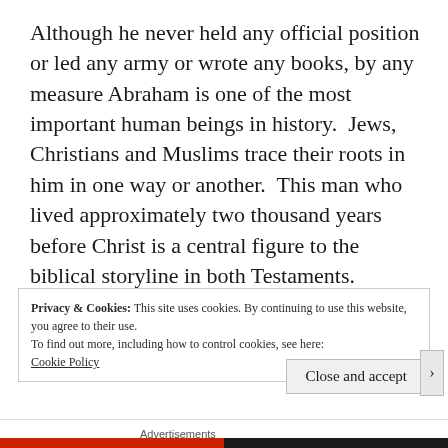Although he never held any official position or led any army or wrote any books, by any measure Abraham is one of the most important human beings in history.  Jews, Christians and Muslims trace their roots in him in one way or another.  This man who lived approximately two thousand years before Christ is a central figure to the biblical storyline in both Testaments.
Privacy & Cookies: This site uses cookies. By continuing to use this website, you agree to their use.
To find out more, including how to control cookies, see here:
Cookie Policy
Close and accept
Advertisements